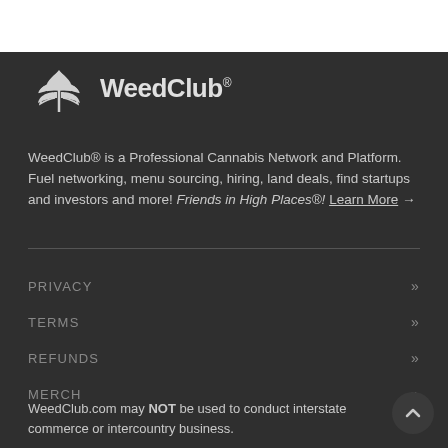[Figure (logo): WeedClub logo with cannabis leaf icon and text 'WeedClub®']
WeedClub® is a Professional Cannabis Network and Platform. Fuel networking, menu sourcing, hiring, land deals, find startups and investors and more! Friends in High Places®! Learn More →
PRIVACY »
TERMS »
REFUNDS »
MERCH »
WeedClub.com may NOT be used to conduct interstate commerce or intercountry business.